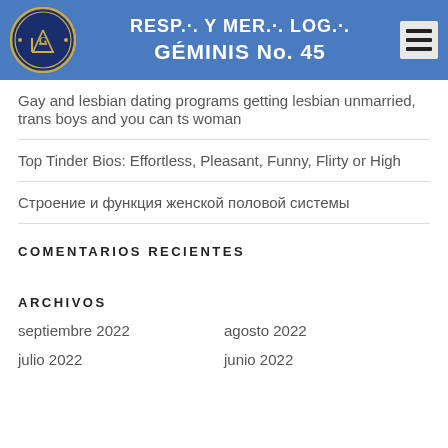RESP.·. Y MER.·. LOG.·. GÉMINIS No. 45
Gay and lesbian dating programs getting lesbian unmarried, trans boys and you can ts woman
Top Tinder Bios: Effortless, Pleasant, Funny, Flirty or High
Строение и функция женской половой системы
COMENTARIOS RECIENTES
ARCHIVOS
septiembre 2022
agosto 2022
julio 2022
junio 2022